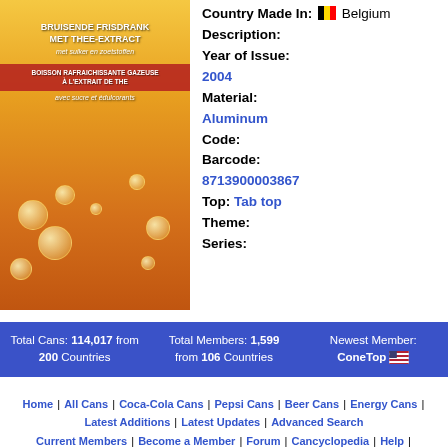[Figure (photo): Photo of an orange/yellow soda can with text BRUISENDE FRISDRANK MET THEE-EXTRACT met suiker en zoetstoffen and BOISSON RAFRAICHISSANTE GAZEUSE A L'EXTRAIT DE THE avec sucre et édulcorants]
Country Made In: Belgium
Description:
Year of Issue: 2004
Material: Aluminum
Code:
Barcode: 8713900003867
Top: Tab top
Theme:
Series:
Total Cans: 114,017 from 200 Countries | Total Members: 1,599 from 106 Countries | Newest Member: ConeTop
Home | All Cans | Coca-Cola Cans | Pepsi Cans | Beer Cans | Energy Cans | Latest Additions | Latest Updates | Advanced Search | Current Members | Become a Member | Forum | Cancyclopedia | Help | Disclaimer | Contact | Facebook | Instagram | Twitter | YouTube | Join our Email List